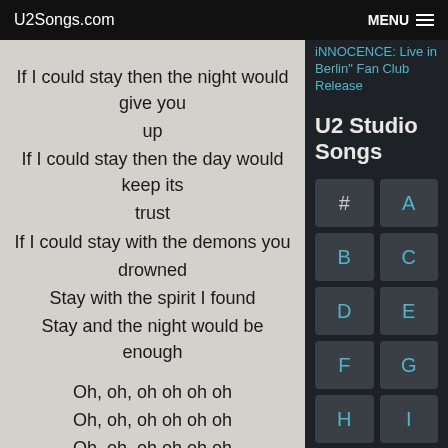U2Songs.com   MENU
If I could stay then the night would give you up
If I could stay then the day would keep its trust
If I could stay with the demons you drowned
Stay with the spirit I found
Stay and the night would be enough

Oh, oh, oh oh oh oh
Oh, oh, oh oh oh oh
Oh, oh, oh oh oh oh
Oh, oh, oh oh oh oh...

Three o'clock in the morning
iNNOCENCE: Live in Berlin" Fan Club Release
U2 Studio Songs
#
A
B
C
D
E
F
G
H
I